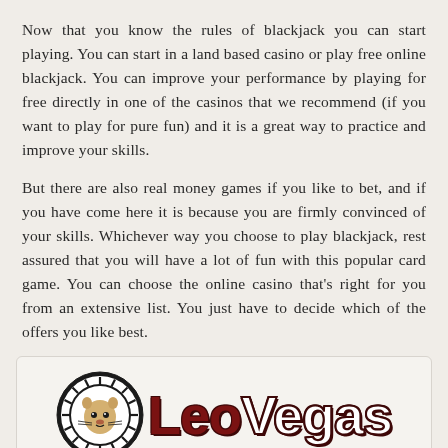Now that you know the rules of blackjack you can start playing. You can start in a land based casino or play free online blackjack. You can improve your performance by playing for free directly in one of the casinos that we recommend (if you want to play for pure fun) and it is a great way to practice and improve your skills.
But there are also real money games if you like to bet, and if you have come here it is because you are firmly convinced of your skills. Whichever way you choose to play blackjack, rest assured that you will have a lot of fun with this popular card game. You can choose the online casino that's right for you from an extensive list. You just have to decide which of the offers you like best.
[Figure (logo): LeoVegas casino logo with a lion head inside a circular emblem on the left and the text 'LeoVegas' in large dark red bold lettering on the right]
100% Welcome Bonus up to NZ